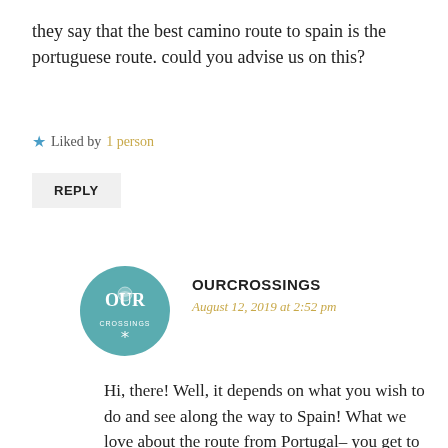they say that the best camino route to spain is the portuguese route. could you advise us on this?
★ Liked by 1 person
REPLY
[Figure (logo): OurCrossings circular teal logo with text OUR CROSSINGS]
OURCROSSINGS
August 12, 2019 at 2:52 pm
Hi, there! Well, it depends on what you wish to do and see along the way to Spain! What we love about the route from Portugal– you get to choose your starting point, which is either from Lisbon, Porto or even Coimbra. But the French way is even more beautiful because it starts in the Basque region and takes you all the way across Pyrenees